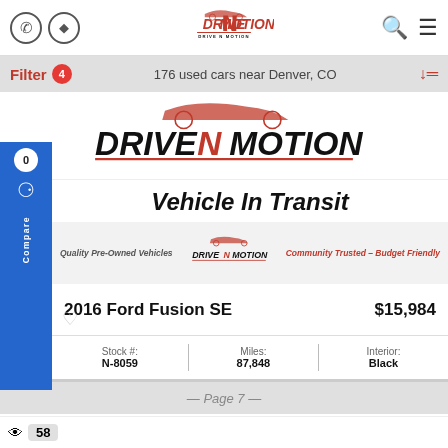Drive N Motion header with phone icon, directions icon, logo, search icon, menu icon
Filter 4  176 used cars near Denver, CO  sort icon
[Figure (logo): Drive N Motion logo banner large]
Vehicle In Transit
[Figure (logo): Drive N Motion small logo with Quality Pre-Owned Vehicles and Community Trusted - Budget Friendly text]
2016 Ford Fusion SE  $15,984
| Stock #: | Miles: | Interior: |
| --- | --- | --- |
| N-8059 | 87,848 | Black |
— Page 7 —
Zero Fees  –  Set Pricing  –  Secure Future
👁 58